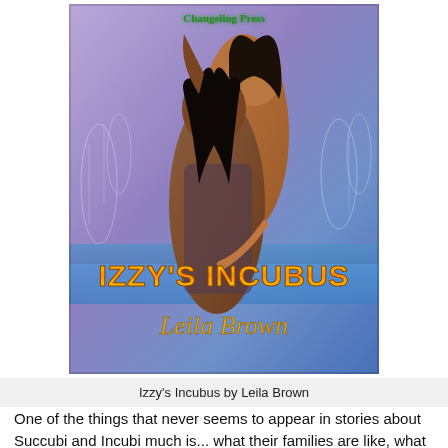[Figure (illustration): Book cover of 'Izzy's Incubus' by Leila Brown, published by Changeling Press. Features two figures — a dark-skinned woman in a sheer lingerie dress with long dark hair, and a shirtless man with long dark hair embracing her from behind. Background has a purple/blue mystical forest with glowing plants. Title 'IZZY'S INCUBUS' in large gold and orange block letters at the bottom, with 'Leila Brown' in gold cursive script below.]
Izzy's Incubus by Leila Brown
One of the things that never seems to appear in stories about Succubi and Incubi much is... what their families are like, what